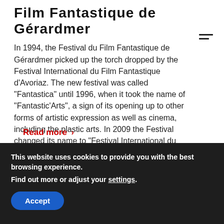Film Fantastique de Gérardmer
In 1994, the Festival du Film Fantastique de Gérardmer picked up the torch dropped by the Festival International du Film Fantastique d'Avoriaz. The new festival was called "Fantastica" until 1996, when it took the name of "Fantastic'Arts", a sign of its opening up to other forms of artistic expression as well as cinema, including the plastic arts. In 2009 the Festival changed its name to "Festival International du Film Fantastique de Gérardmer".
Read more ›
This website uses cookies to provide you with the best browsing experience.
Find out more or adjust your settings.